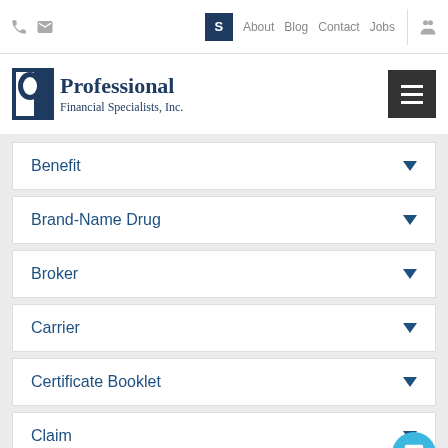Professional Financial Specialists, Inc. — Navigation: About, Blog, Contact, Jobs
[Figure (logo): Professional Financial Specialists, Inc. logo with blue P icon and serif text]
Benefit
Brand-Name Drug
Broker
Carrier
Certificate Booklet
Claim